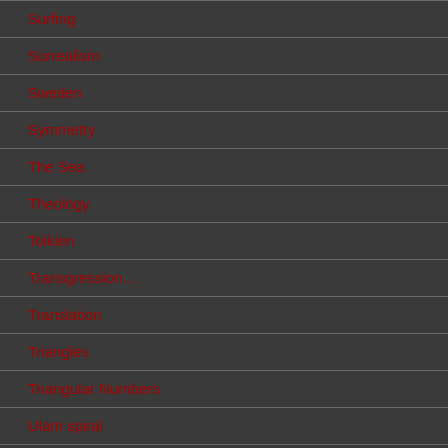Surfing
Surrealism
Sweden
Symmetry
The Sea
Theology
Tolkien
Transgression…
Translation
Triangles
Triangular Numbers
Ulam spiral
War